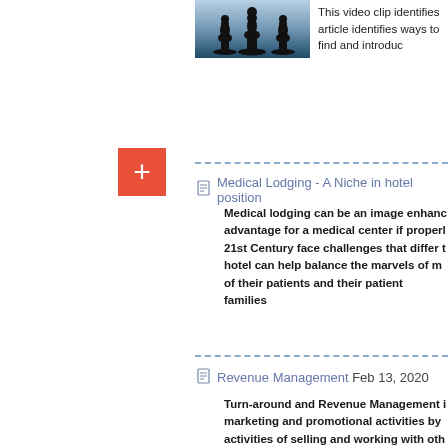[Figure (photo): Chess pieces silhouetted against a blue-tinted background]
This video clip identifies ways to find and introduce article identifies ways to find and introduc
+
Medical Lodging - A Niche in hotel position
Medical lodging can be an image enhancing advantage for a medical center if properly 21st Century face challenges that differ t hotel can help balance the marvels of m of their patients and their patient families
Revenue Management Feb 13, 2020
Turn-around and Revenue Management i marketing and promotional activities by activities of selling and working with oth